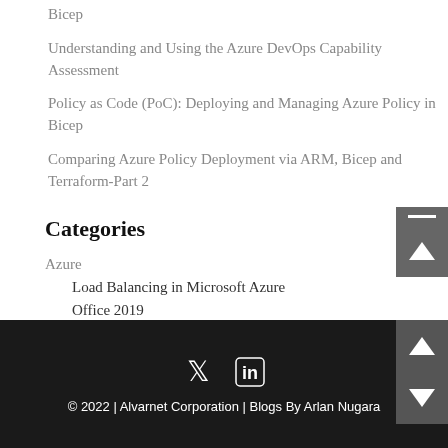Bicep
Understanding and Using the Azure DevOps Capability Assessment
Policy as Code (PoC): Deploying and Managing Azure Policy in Bicep
Comparing Azure Policy Deployment via ARM, Bicep and Terraform-Part 2
Categories
Azure
Load Balancing in Microsoft Azure
Office 2019
Community
© 2022 | Alvarnet Corporation | Blogs By Arlan Nugara